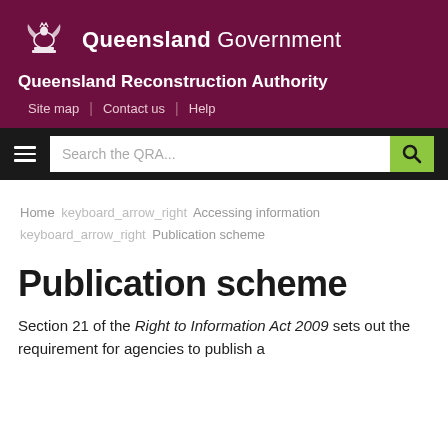Queensland Government — Queensland Reconstruction Authority
Site map | Contact us | Help
Search the QRA...
Home keyboard_arrow_right Accessing information keyboard_arrow_right Publication scheme
Publication scheme
Section 21 of the Right to Information Act 2009 sets out the requirement for agencies to publish a